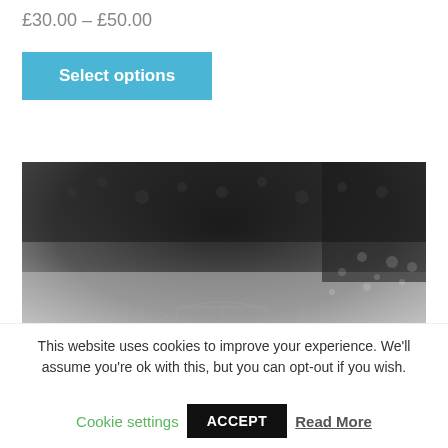£30.00 – £50.00
Select options
[Figure (photo): Black and white aerial or close-up photograph showing dark granular texture (possibly soil, rocks, or charcoal) in the upper portion fading to lighter areas below, with faint architectural or map-like line drawings visible in the lower portion.]
This website uses cookies to improve your experience. We'll assume you're ok with this, but you can opt-out if you wish.
Cookie settings    ACCEPT    Read More